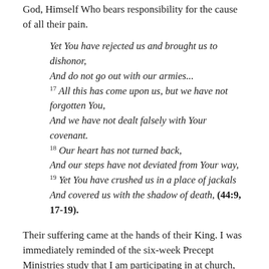God, Himself Who bears responsibility for the cause of all their pain.
Yet You have rejected us and brought us to dishonor, And do not go out with our armies... 17 All this has come upon us, but we have not forgotten You, And we have not dealt falsely with Your covenant. 18 Our heart has not turned back, And our steps have not deviated from Your way, 19 Yet You have crushed us in a place of jackals And covered us with the shadow of death, (44:9, 17-19).
Their suffering came at the hands of their King. I was immediately reminded of the six-week Precept Ministries study that I am participating in at church, "Living Victoriously in Difficult Times." Much of what we have studied is similar to what the writers in Book...